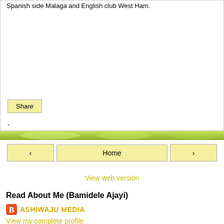Spanish side Malaga and English club West Ham.
Share
-
[Figure (infographic): Green gradient banner/image strip separating content sections]
‹   Home   ›
View web version
Read About Me (Bamidele Ajayi)
ASHIWAJU MEDIA
View my complete profile